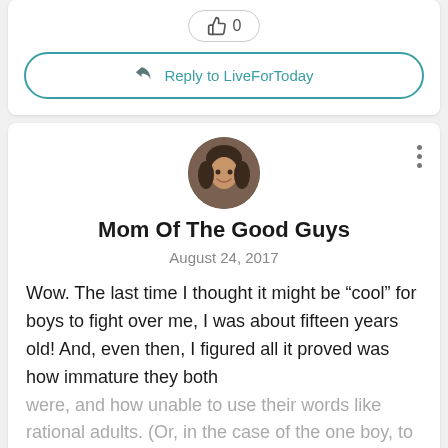[Figure (other): Like button with thumbs up icon showing count 0]
Reply to LiveForToday
[Figure (photo): Circular avatar photo of a woman with brown hair]
Mom Of The Good Guys
August 24, 2017
Wow. The last time I thought it might be “cool” for boys to fight over me, I was about fifteen years old! And, even then, I figured all it proved was how immature they both were, and how unable to use their words like rational adults. (Or, in the case of the one boy, to understand that